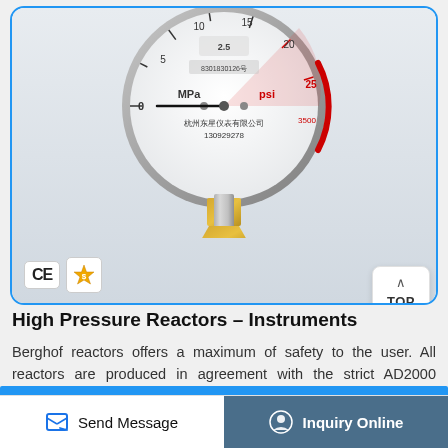[Figure (photo): A high-pressure gauge with MPa and psi scales, showing Chinese manufacturer markings, with a stainless steel body and brass fitting. CE certification and gold supplier badges shown in bottom-left corner. A 'TOP' navigation button in the bottom-right.]
High Pressure Reactors – Instruments
Berghof reactors offers a maximum of safety to the user. All reactors are produced in agreement with the strict AD2000 standard. Each reactor is tested for pressure resistance and tightness. …
Send Message | Inquiry Online